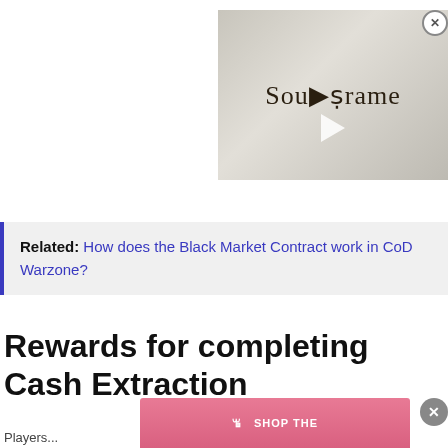[Figure (screenshot): Video thumbnail for 'Soulframe' game, showing stylized medieval/gothic text logo on a stone-textured background with a play button overlay. A close (X) button is visible in the upper right corner.]
Related: How does the Black Market Contract work in CoD Warzone?
Rewards for completing Cash Extraction
Players...and